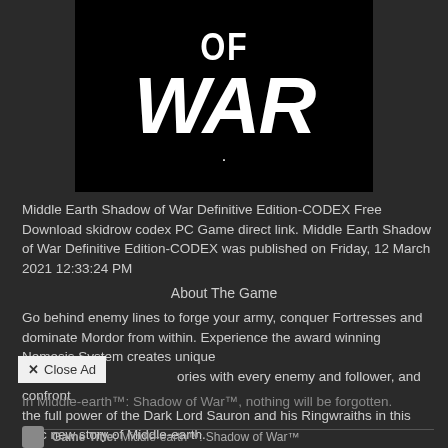[Figure (photo): Game logo showing 'OF WAR' text in large white bold letters on a black background]
Middle Earth Shadow of War Definitive Edition-CODEX Free Download skidrow codex PC Game direct link. Middle Earth Shadow of War Definitive Edition-CODEX was published on Friday, 12 March 2021 12:33:24 PM
About The Game
Go behind enemy lines to forge your army, conquer Fortresses and dominate Mordor from within. Experience the award winning Nemesis System creates unique stories with every enemy and follower, and confront the full power of the Dark Lord Sauron and his Ringwraiths in this epic new story of Middle-earth.
In Middle-earth™: Shadow of War™, nothing will be forgotten.
Game Title: Middle-earth™: Shadow of War™